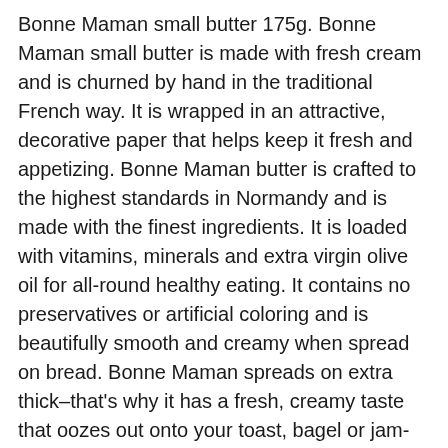Bonne Maman small butter 175g. Bonne Maman small butter is made with fresh cream and is churned by hand in the traditional French way. It is wrapped in an attractive, decorative paper that helps keep it fresh and appetizing. Bonne Maman butter is crafted to the highest standards in Normandy and is made with the finest ingredients. It is loaded with vitamins, minerals and extra virgin olive oil for all-round healthy eating. It contains no preservatives or artificial coloring and is beautifully smooth and creamy when spread on bread. Bonne Maman spreads on extra thick–that's why it has a fresh, creamy taste that oozes out onto your toast, bagel or jam-drenched crumpet. The 175g jar comes in a convenient shape that even the most butter-knuckled breakfast enthusiast can hold with one hand and the lid is wide open for simple use–indeed it requires just one squeeze to spade all this goodness onto your morning treat. Tasty, creamy and bursting with fruity flavors, Bonne Maman butter is simply delicious. Made from pasteurized cream without the use of added emulsifiers